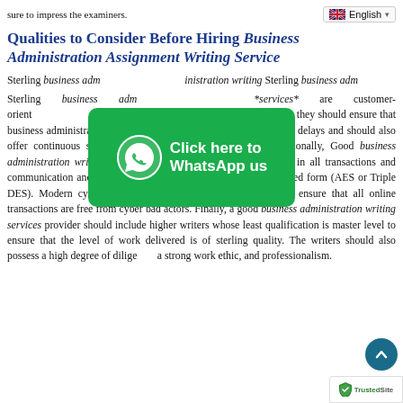sure to impress the examiners.
Qualities to Consider Before Hiring Business Administration Assignment Writing Service
[Figure (infographic): WhatsApp click-here button overlay with green background, phone icon, and text 'Click here to WhatsApp us']
Sterling business administration writing services are customer-oriented being customer satisfaction. To achieve this, they should ensure that business administration assignments are delivered on time without delays and should also offer continuous support to customers on a 24/7 basis. Additionally, Good business administration writing services maintain absolute confidentiality in all transactions and communication and ensure that all user data is secured in encrypted form (AES or Triple DES). Modern cyber security measures should be deployed to ensure that all online transactions are free from cyber bad actors. Finally, a good business administration writing services provider should include higher writers whose least qualification is master level to ensure that the level of work delivered is of sterling quality. The writers should also possess a high degree of diligence, a strong work ethic, and professionalism.